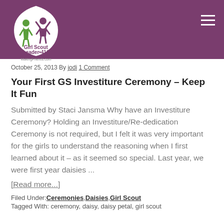[Figure (logo): Girl Scout Leader 411 MakingFriends.com logo with cartoon girl scout figures on a purple shield background]
October 25, 2013 By jodi 1 Comment
Your First GS Investiture Ceremony – Keep It Fun
Submitted by Staci Jansma Why have an Investiture Ceremony? Holding an Investiture/Re-dedication Ceremony is not required, but I felt it was very important for the girls to understand the reasoning when I first learned about it – as it seemed so special. Last year, we were first year daisies ...
[Read more...]
Filed Under: Ceremonies, Daisies, Girl Scout
Tagged With: ceremony, daisy, daisy petal, girl scout